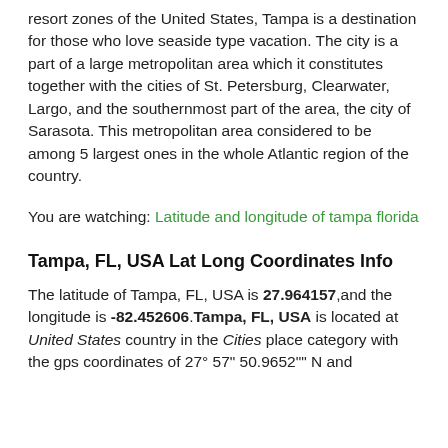resort zones of the United States, Tampa is a destination for those who love seaside type vacation. The city is a part of a large metropolitan area which it constitutes together with the cities of St. Petersburg, Clearwater, Largo, and the southernmost part of the area, the city of Sarasota. This metropolitan area considered to be among 5 largest ones in the whole Atlantic region of the country.
You are watching: Latitude and longitude of tampa florida
Tampa, FL, USA Lat Long Coordinates Info
The latitude of Tampa, FL, USA is 27.964157,and the longitude is -82.452606.Tampa, FL, USA is located at United States country in the Cities place category with the gps coordinates of 27° 57' 50.9652'' N and